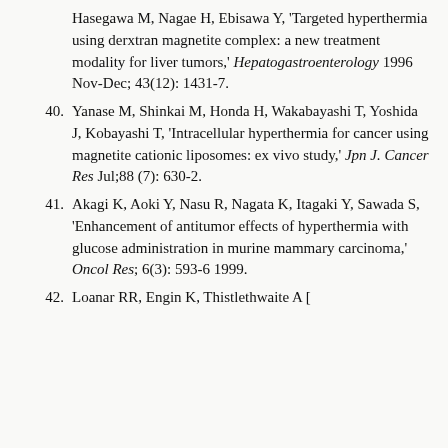Hasegawa M, Nagae H, Ebisawa Y, 'Targeted hyperthermia using derxtran magnetite complex: a new treatment modality for liver tumors,' Hepatogastroenterology 1996 Nov-Dec; 43(12): 1431-7.
40. Yanase M, Shinkai M, Honda H, Wakabayashi T, Yoshida J, Kobayashi T, 'Intracellular hyperthermia for cancer using magnetite cationic liposomes: ex vivo study,' Jpn J. Cancer Res Jul;88 (7): 630-2.
41. Akagi K, Aoki Y, Nasu R, Nagata K, Itagaki Y, Sawada S, 'Enhancement of antitumor effects of hyperthermia with glucose administration in murine mammary carcinoma,' Oncol Res; 6(3): 593-6 1999.
42. [partial, truncated]